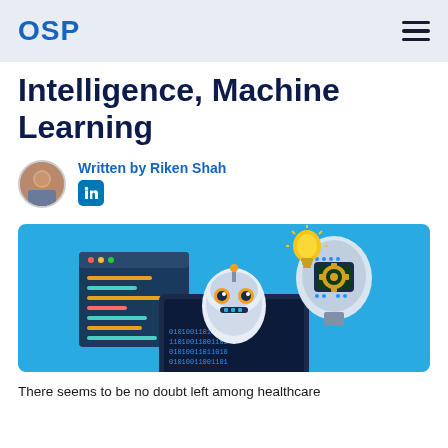OSP
Intelligence, Machine Learning
Written by Riken Shah
[Figure (illustration): AI/ML themed illustration on blue background showing a robot, a laptop with code editor, binary data, a lightbulb, and a robot head with circuit board brain]
There seems to be no doubt left among healthcare